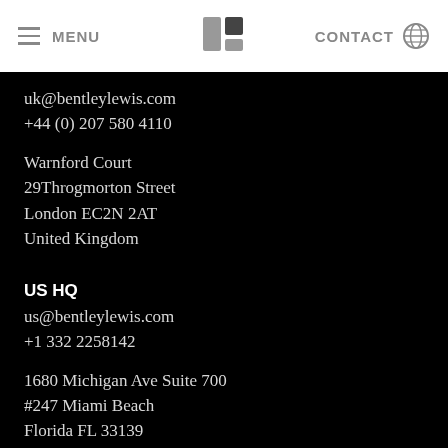MENU   CONTACT
uk@bentleylewis.com
+44 (0) 207 580 4110
Warnford Court
29Throgmorton Street
London EC2N 2AT
United Kingdom
US HQ
us@bentleylewis.com
+1 332 2258142
1680 Michigan Ave Suite 700
#247 Miami Beach
Florida FL 33139
USA